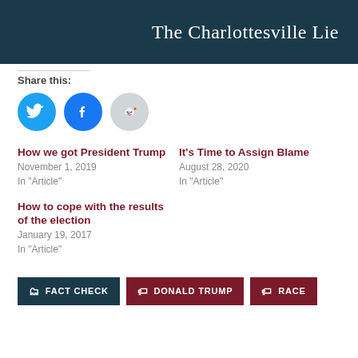The Charlottesville Lie
Share this:
[Figure (infographic): Three social share buttons: Twitter (blue), Facebook (blue), Reddit (gray)]
How we got President Trump
November 1, 2019
In "Article"
It's Time to Assign Blame
August 28, 2020
In "Article"
How to cope with the results of the election
January 19, 2017
In "Article"
FACT CHECK   DONALD TRUMP   RACE